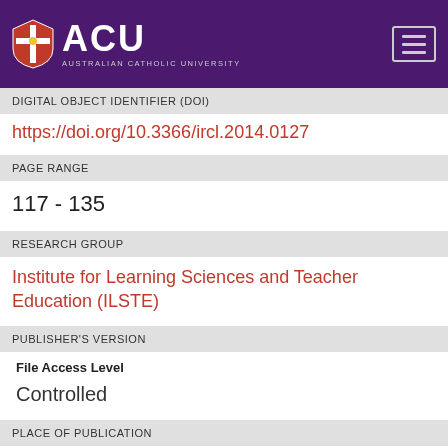[Figure (logo): ACU (Australian Catholic University) logo with shield on purple header bar and hamburger menu icon]
DIGITAL OBJECT IDENTIFIER (DOI)
https://doi.org/10.3366/ircl.2014.0127
PAGE RANGE
117 - 135
RESEARCH GROUP
Institute for Learning Sciences and Teacher Education (ILSTE)
PUBLISHER'S VERSION
File Access Level
Controlled
PLACE OF PUBLICATION
United Kingdom